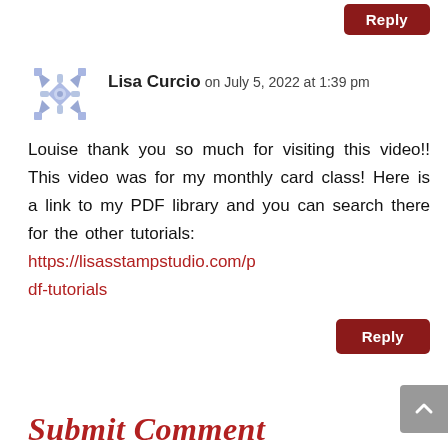Reply
Lisa Curcio on July 5, 2022 at 1:39 pm
Louise thank you so much for visiting this video!! This video was for my monthly card class! Here is a link to my PDF library and you can search there for the other tutorials: https://lisasstampstudio.com/pdf-tutorials
Reply
Submit Comment